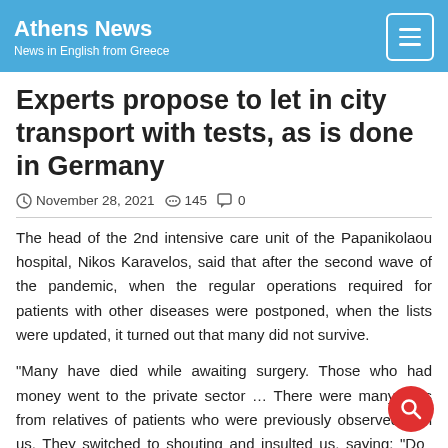Athens News
News in English from Greece
Experts propose to let in city transport with tests, as is done in Germany
November 28, 2021  145  0
The head of the 2nd intensive care unit of the Papanikolaou hospital, Nikos Karavelos, said that after the second wave of the pandemic, when the regular operations required for patients with other diseases were postponed, when the lists were updated, it turned out that many did not survive.
“Many have died while awaiting surgery. Those who had money went to the private sector … There were many calls from relatives of patients who were previously observed with us. They switched to shouting and insulted us, saying: “Do you remember my father (mother, relative) ?! He died without